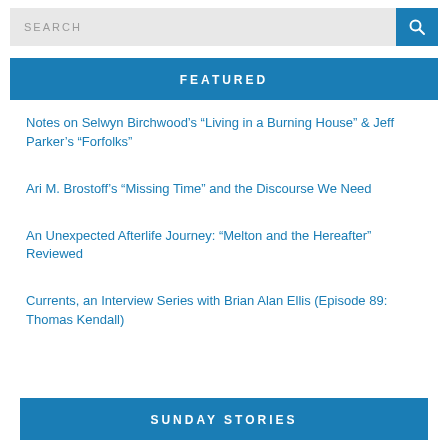SEARCH
FEATURED
Notes on Selwyn Birchwood’s “Living in a Burning House” & Jeff Parker’s “Forfolks”
Ari M. Brostoff’s “Missing Time” and the Discourse We Need
An Unexpected Afterlife Journey: “Melton and the Hereafter” Reviewed
Currents, an Interview Series with Brian Alan Ellis (Episode 89: Thomas Kendall)
SUNDAY STORIES